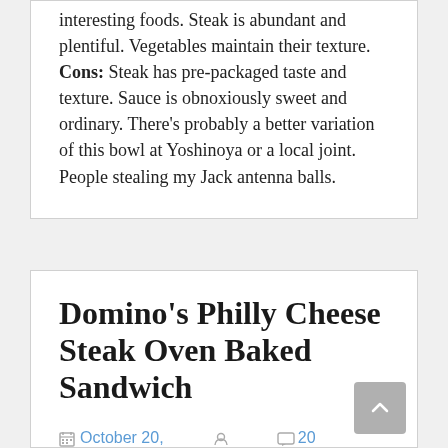interesting foods. Steak is abundant and plentiful. Vegetables maintain their texture. Cons: Steak has pre-packaged taste and texture. Sauce is obnoxiously sweet and ordinary. There's probably a better variation of this bowl at Yoshinoya or a local joint. People stealing my Jack antenna balls.
Domino's Philly Cheese Steak Oven Baked Sandwich
October 20, 2008   Ace   20 Comments